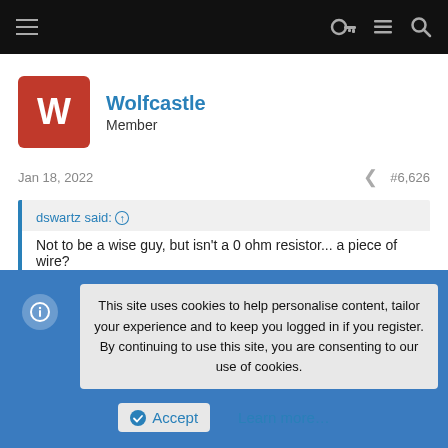Navigation bar with hamburger menu, key icon, list icon, and search icon
Wolfcastle
Member
Jan 18, 2022   #6,626
dswartz said: ↑
Not to be a wise guy, but isn't a 0 ohm resistor... a piece of wire?
More or less, most commonly they're used for debugging and/or optional components. Debugging PCBs with a bunch of
This site uses cookies to help personalise content, tailor your experience and to keep you logged in if you register.
By continuing to use this site, you are consenting to our use of cookies.
Accept   Learn more...